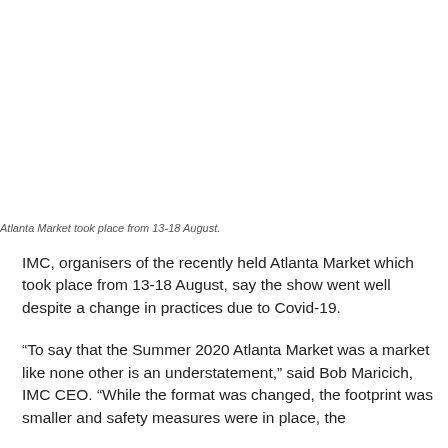Atlanta Market took place from 13-18 August.
IMC, organisers of the recently held Atlanta Market which took place from 13-18 August, say the show went well despite a change in practices due to Covid-19.
“To say that the Summer 2020 Atlanta Market was a market like none other is an understatement,” said Bob Maricich, IMC CEO. “While the format was changed, the footprint was smaller and safety measures were in place, the